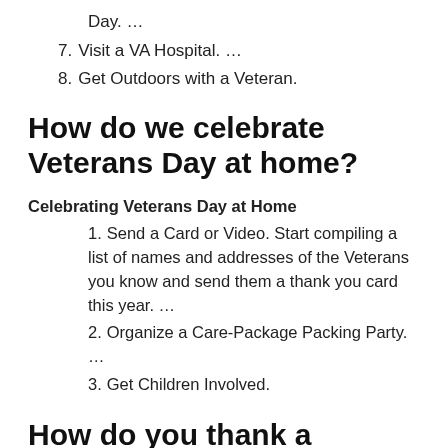Day. …
7. Visit a VA Hospital. …
8. Get Outdoors with a Veteran.
How do we celebrate Veterans Day at home?
Celebrating Veterans Day at Home
1. Send a Card or Video. Start compiling a list of names and addresses of the Veterans you know and send them a thank you card this year. …
2. Organize a Care-Package Packing Party. …
3. Get Children Involved.
How do you thank a veteran with words?